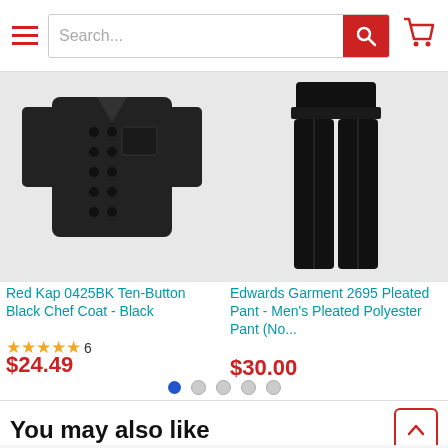[Figure (screenshot): E-commerce shopping page showing navigation bar with hamburger menu, search bar, and cart icon]
[Figure (photo): Red Kap 0425BK Ten-Button Black Chef Coat product image]
Red Kap 0425BK Ten-Button Black Chef Coat - Black
★★★★★ 6
$24.49
[Figure (photo): Edwards Garment 2695 Pleated Pant - Men's Pleated Polyester Pant product image]
Edwards Garment 2695 Pleated Pant - Men's Pleated Polyester Pant (No...
$30.00
You may also like
[Figure (photo): Pink hat product partially visible at bottom]
[Figure (photo): Green hat with decorative elements partially visible at bottom]